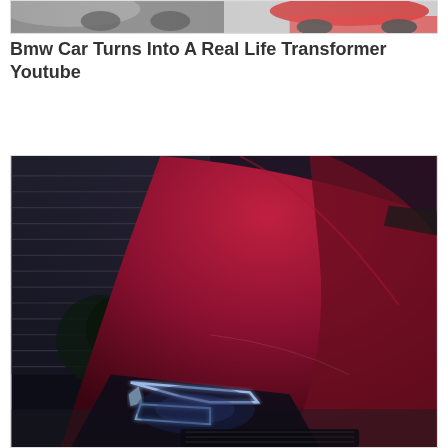[Figure (photo): Cropped top portion of a car image card showing two vehicles side by side - left side appears to be a dark/grayscale car, right side shows a red sports car]
Bmw Car Turns Into A Real Life Transformer Youtube
[Figure (photo): Close-up front hood and headlight view of a deep red/burgundy matte BMW car shot from above at dusk or night, with blurred background showing building and trees]